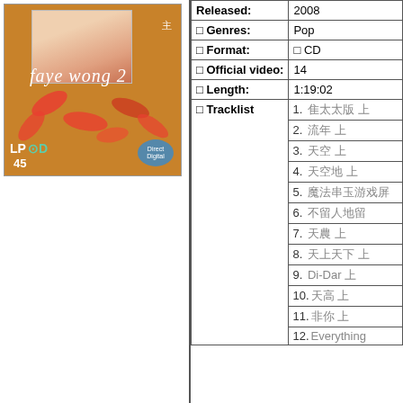[Figure (photo): Album cover for Faye Wong 2, orange/golden background with artist photo, LPCD label, number 45]
| Field | Value |
| --- | --- |
| Released: | 2008 |
| Genres: | Pop |
| Format: | CD |
| Official video: | 14 |
| Length: | 1:19:02 |
| Tracklist | 1. [CJK] 2. [CJK] 3. [CJK] 4. [CJK] 5. [CJK] 6. [CJK] 7. [CJK] 8. [CJK] 9. Di-Dar [CJK] 10. [CJK] 11. [CJK] 12. Everything |